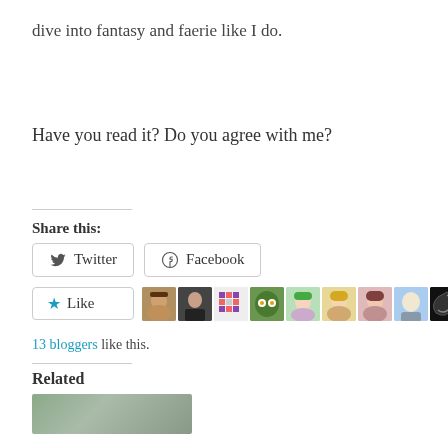dive into fantasy and faerie like I do.
Have you read it? Do you agree with me?
Share this:
[Figure (other): Share buttons for Twitter and Facebook]
[Figure (other): Like button and 10 blogger avatars]
13 bloggers like this.
Related